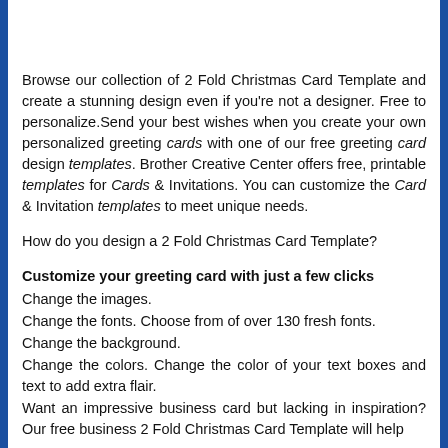Browse our collection of 2 Fold Christmas Card Template and create a stunning design even if you're not a designer. Free to personalize.Send your best wishes when you create your own personalized greeting cards with one of our free greeting card design templates. Brother Creative Center offers free, printable templates for Cards & Invitations. You can customize the Card & Invitation templates to meet unique needs.
How do you design a 2 Fold Christmas Card Template?
Customize your greeting card with just a few clicks
Change the images.
Change the fonts. Choose from of over 130 fresh fonts.
Change the background.
Change the colors. Change the color of your text boxes and text to add extra flair.
Want an impressive business card but lacking in inspiration? Our free business 2 Fold Christmas Card Template will help